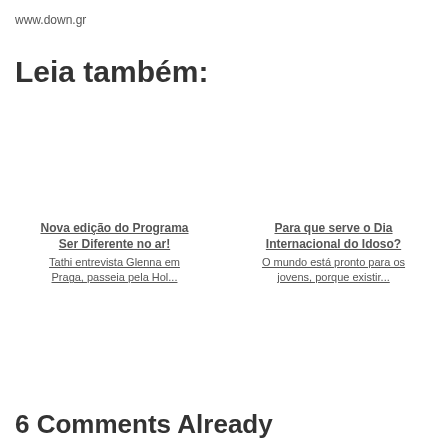www.down.gr
Leia também:
Nova edição do Programa Ser Diferente no ar!
Tathi entrevista Glenna em Praga, passeia pela Hol...
Para que serve o Dia Internacional do Idoso?
O mundo está pronto para os jovens, porque existir...
6 Comments Already